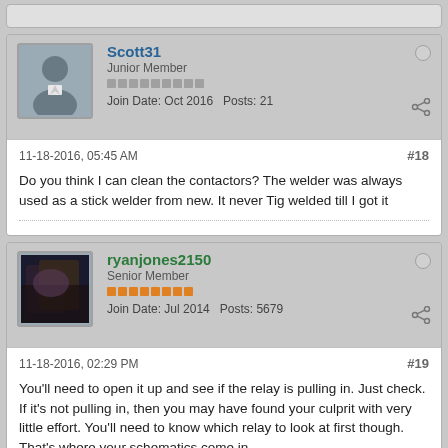[Figure (other): Partial top of a forum post card (cut off at top of page)]
Scott31
Junior Member
Join Date: Oct 2016   Posts: 21
11-18-2016, 05:45 AM
#18
Do you think I can clean the contactors? The welder was always used as a stick welder from new. It never Tig welded till I got it
ryanjones2150
Senior Member
Join Date: Jul 2014   Posts: 5679
11-18-2016, 02:29 PM
#19
You'll need to open it up and see if the relay is pulling in. Just check. If it's not pulling in, then you may have found your culprit with very little effort. You'll need to know which relay to look at first though. That's where your schematics come in.